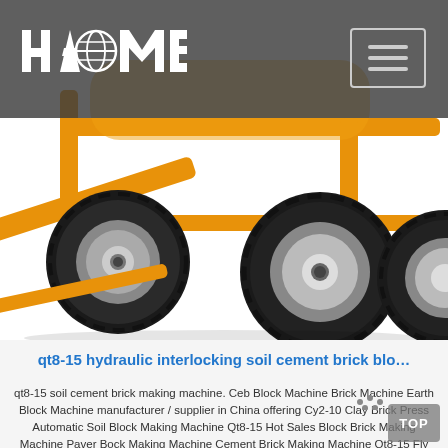HAOMEI (logo with globe icon) | Menu button
[Figure (photo): Close-up photo of an orange concrete/cement mixer machine on four large black rubber wheels with metal rims, white background, showing the undercarriage and wheels prominently.]
qt8-15 hydraulic interlocking soil cement brick blo…
qt8-15 soil cement brick making machine. Ceb Block Machine Brick Machine Earth Block Machine manufacturer / supplier in China offering Cy2-10 Clay Brick Press Automatic Soil Block Making Machine Qt8-15 Hot Sales Block Brick Making Machine Paver Bock Making Machine Cement Brick Making Machine Qt8-15 Fly Ash Brick Raw Material and Brick Production Line